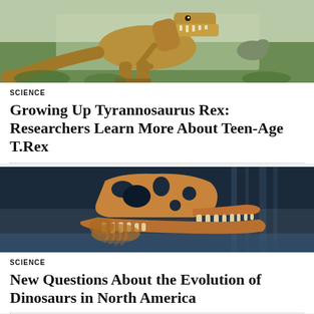[Figure (photo): Illustration of a Tyrannosaurus Rex dinosaur in a green field with another dinosaur in background]
SCIENCE
Growing Up Tyrannosaurus Rex: Researchers Learn More About Teen-Age T.Rex
[Figure (photo): Illustration of a Tyrannosaurus Rex skeleton against a dramatic ocean/waterfall background]
SCIENCE
New Questions About the Evolution of Dinosaurs in North America